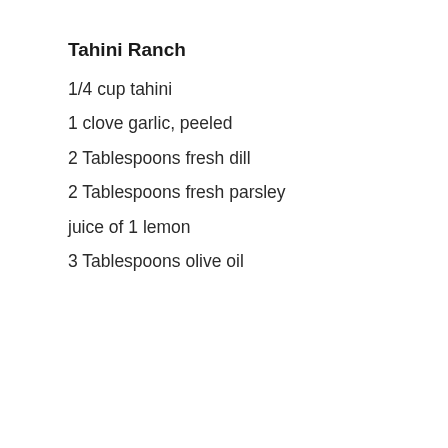Tahini Ranch
1/4 cup tahini
1 clove garlic, peeled
2 Tablespoons fresh dill
2 Tablespoons fresh parsley
juice of 1 lemon
3 Tablespoons olive oil